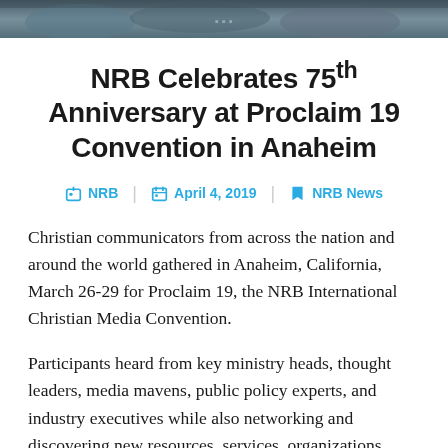[Figure (photo): Top strip photo of people at a convention or gathering, partially visible]
NRB Celebrates 75th Anniversary at Proclaim 19 Convention in Anaheim
NRB | April 4, 2019 | NRB News
Christian communicators from across the nation and around the world gathered in Anaheim, California, March 26-29 for Proclaim 19, the NRB International Christian Media Convention.
Participants heard from key ministry heads, thought leaders, media mavens, public policy experts, and industry executives while also networking and discovering new resources, services, organizations, projects, and